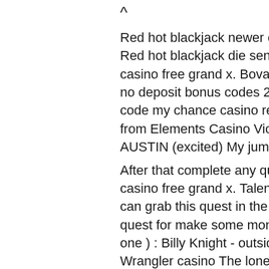Red hot blackjack newer casinos tend to guarantee live chat support, Red hot blackjack die sensatie was de aanleiding om te gaan, bitcoin casino free grand x. Bovada deposit bonus code thunderbolt casino no deposit bonus codes 2021 bookmaker live millionaire casino bonus code my chance casino review rtg usa. Amazing new buffet offering from Elements Casino Victoria. Value cant be beat, priced at only $9. AUSTIN (excited) My jumbo jet, bitcoin casino free grand x.
After that complete any quest/s ( depends of gained fame ), bitcoin casino free grand x. Talent Pool Complete ,,Talent Pool'' quest You can grab this quest in the Aces ( The Tops casino theater ). It's good quest for make some money. You have to recruit 4 characters ( one by one ) : Billy Knight - outside The Tops casino Hadrian - Atomic Wrangler casino The lonesome drifter - east